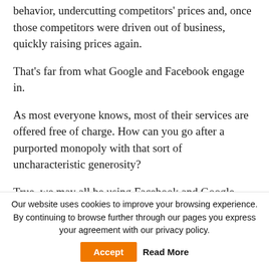behavior, undercutting competitors' prices and, once those competitors were driven out of business, quickly raising prices again.
That's far from what Google and Facebook engage in.
As most everyone knows, most of their services are offered free of charge. How can you go after a purported monopoly with that sort of uncharacteristic generosity?
True, we may all be using Facebook and Google without
Our website uses cookies to improve your browsing experience. By continuing to browse further through our pages you express your agreement with our privacy policy.